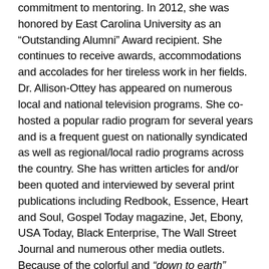commitment to mentoring. In 2012, she was honored by East Carolina University as an “Outstanding Alumni” Award recipient. She continues to receive awards, accommodations and accolades for her tireless work in her fields. Dr. Allison-Ottey has appeared on numerous local and national television programs. She co-hosted a popular radio program for several years and is a frequent guest on nationally syndicated as well as regional/local radio programs across the country. She has written articles for and/or been quoted and interviewed by several print publications including Redbook, Essence, Heart and Soul, Gospel Today magazine, Jet, Ebony, USA Today, Black Enterprise, The Wall Street Journal and numerous other media outlets. Because of the colorful and “down to earth” manner in which she addresses health, relationships and offers motivation; Dr. Allison-